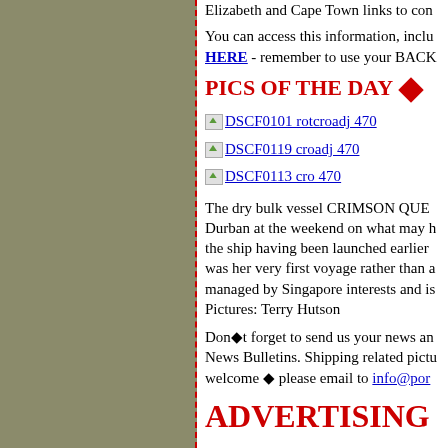Elizabeth and Cape Town links to con
You can access this information, inclu HERE - remember to use your BACK
PICS OF THE DAY
DSCF0101 rotcroadj 470
DSCF0119 croadj 470
DSCF0113 cro 470
The dry bulk vessel CRIMSON QUE... Durban at the weekend on what may h... the ship having been launched earlier ... was her very first voyage rather than a... managed by Singapore interests and is... Pictures: Terry Hutson
Don't forget to send us your news an... News Bulletins. Shipping related pictu... welcome please email to info@por
ADVERTISING